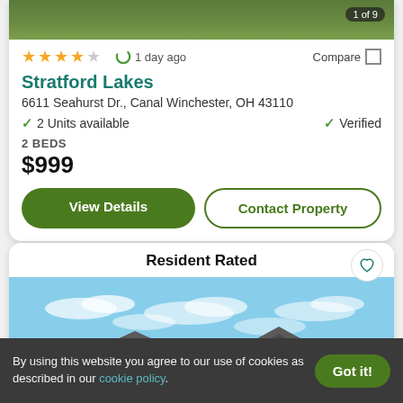[Figure (photo): Green lawn/grass image at top of property listing card, with '1 of 9' counter badge]
★★★★☆  1 day ago  Compare □
Stratford Lakes
6611 Seahurst Dr., Canal Winchester, OH 43110
✓ 2 Units available   ✓ Verified
2 BEDS
$999
View Details   Contact Property
[Figure (photo): Resident Rated property listing card showing house rooftops against a blue sky with scattered clouds]
By using this website you agree to our use of cookies as described in our cookie policy.